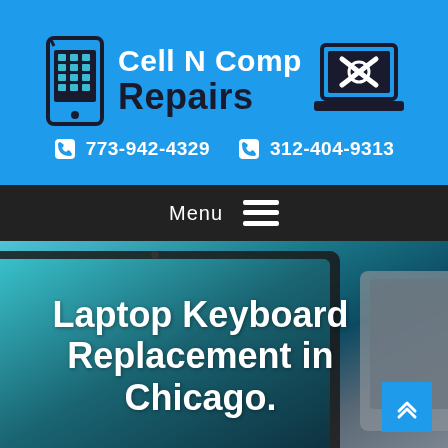[Figure (logo): Cell N Comp Repairs logo with mobile phone icon on left and laptop with wrench icon on right, on blue background]
773-942-4329   312-404-9313
Menu
[Figure (photo): Close-up photo of a laptop with teal/dark screen and a second laptop partially visible on the right, dark background]
Laptop Keyboard Replacement in Chicago.